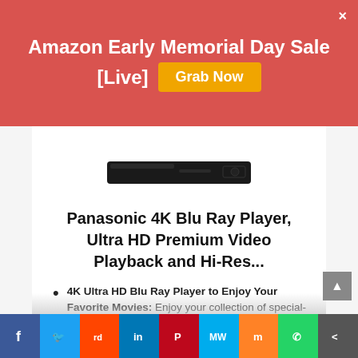Amazon Early Memorial Day Sale [Live]  Grab Now
[Figure (photo): Panasonic 4K Blu-ray player — slim black rectangular device]
Panasonic 4K Blu Ray Player, Ultra HD Premium Video Playback and Hi-Res...
4K Ultra HD Blu Ray Player to Enjoy Your Favorite Movies: Enjoy your collection of special-edition Blu Ray, rare DVDs, and all-time favorites in high-quality playback
Stunning Color and Detail: Exclusive Panasonic technologies are applied to 4K high-precision chroma processing to give natural textures and...
f  Twitter  Reddit  in  Pinterest  MW  Mix  WhatsApp  Share